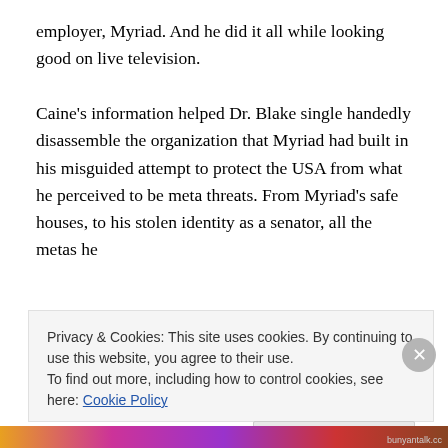employer, Myriad. And he did it all while looking good on live television.
Caine's information helped Dr. Blake single handedly disassemble the organization that Myriad had built in his misguided attempt to protect the USA from what he perceived to be meta threats. From Myriad's safe houses, to his stolen identity as a senator, all the metas he
Privacy & Cookies: This site uses cookies. By continuing to use this website, you agree to their use.
To find out more, including how to control cookies, see here: Cookie Policy
Close and accept